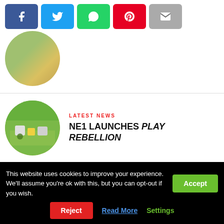[Figure (infographic): Social share buttons: Facebook (blue), Twitter (cyan), WhatsApp (green), Pinterest (red), Email (grey)]
[Figure (photo): Circular thumbnail showing outdoor festival/playground scene with people and greenery]
LATEST NEWS
NE1 LAUNCHES PLAY REBELLION
[Figure (photo): Circular thumbnail showing outdoor play area with colourful foam blocks and children, with trees in background]
LATEST NEWS
We Will Rock You Review – Newcastle Theatre Royal
[Figure (photo): Circular thumbnail — dark/black image]
This website uses cookies to improve your experience. We'll assume you're ok with this, but you can opt-out if you wish.
Accept
Reject
Read More
Settings